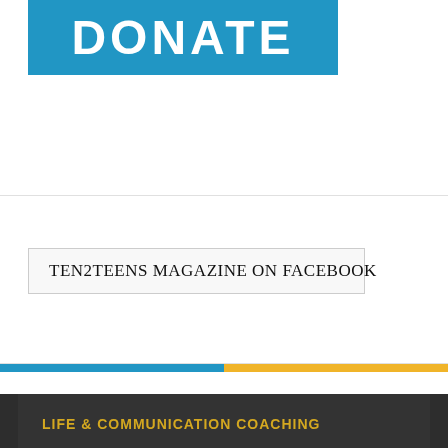[Figure (other): Blue banner with white bold text reading DONATE]
TEN2TEENS MAGAZINE ON FACEBOOK
LIFE & COMMUNICATION COACHING
LCC TEENS
LCC TWEENS